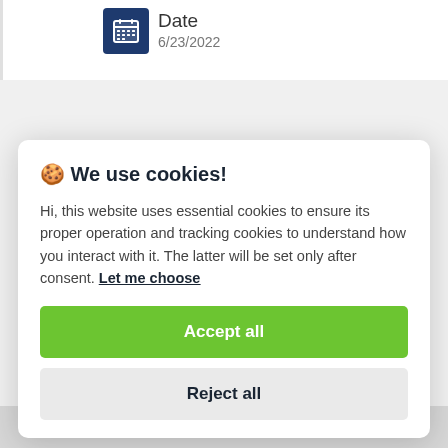[Figure (other): Calendar icon (dark blue square with calendar grid symbol) next to 'Date' label and value '6/23/2022']
Date
6/23/2022
🍪 We use cookies!
Hi, this website uses essential cookies to ensure its proper operation and tracking cookies to understand how you interact with it. The latter will be set only after consent. Let me choose
Accept all
Reject all